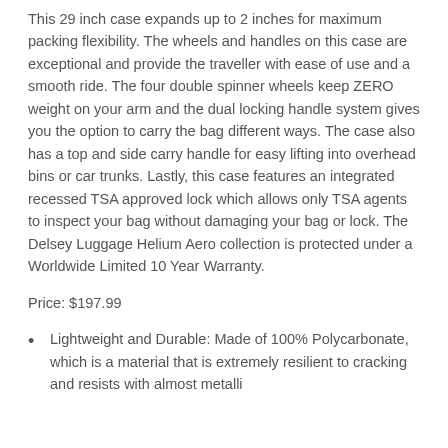This 29 inch case expands up to 2 inches for maximum packing flexibility. The wheels and handles on this case are exceptional and provide the traveller with ease of use and a smooth ride. The four double spinner wheels keep ZERO weight on your arm and the dual locking handle system gives you the option to carry the bag different ways. The case also has a top and side carry handle for easy lifting into overhead bins or car trunks. Lastly, this case features an integrated recessed TSA approved lock which allows only TSA agents to inspect your bag without damaging your bag or lock. The Delsey Luggage Helium Aero collection is protected under a Worldwide Limited 10 Year Warranty.
Price: $197.99
Lightweight and Durable: Made of 100% Polycarbonate, which is a material that is extremely resilient to cracking and resists with almost metallic...